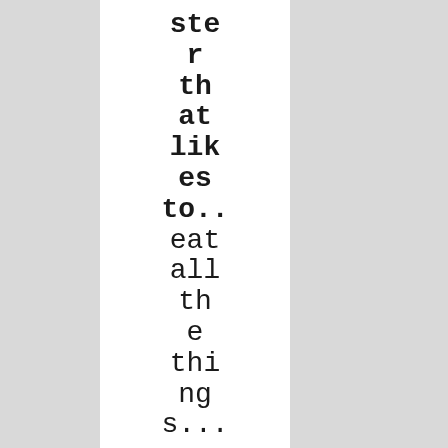ster that likes to.. eat all the things...
I N S T A